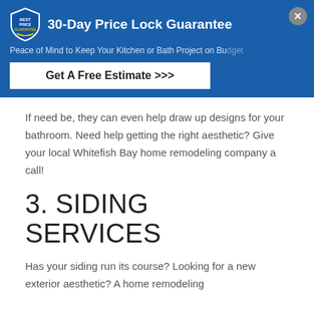[Figure (infographic): Blue banner with shield logo, '30-Day Price Lock Guarantee' heading, subtitle text, close button, and 'Get A Free Estimate >>>' CTA button]
If need be, they can even help draw up designs for your bathroom. Need help getting the right aesthetic? Give your local Whitefish Bay home remodeling company a call!
3. SIDING SERVICES
Has your siding run its course? Looking for a new exterior aesthetic? A home remodeling